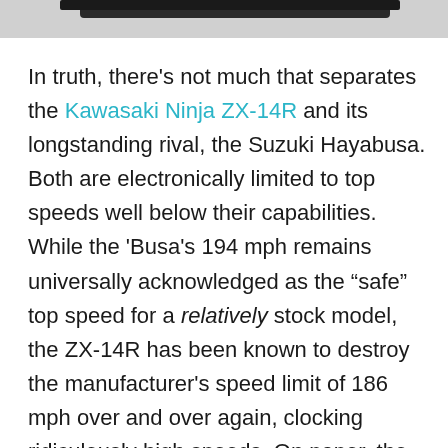[Figure (photo): Partial view of a motorcycle (bottom portion visible as a dark strip at the top of the page)]
In truth, there's not much that separates the Kawasaki Ninja ZX-14R and its longstanding rival, the Suzuki Hayabusa. Both are electronically limited to top speeds well below their capabilities. While the 'Busa's 194 mph remains universally acknowledged as the “safe” top speed for a relatively stock model, the ZX-14R has been known to destroy the manufacturer’s speed limit of 186 mph over and over again, clocking ridiculously high speeds. On paper, the ZX-14 comes equipped with a